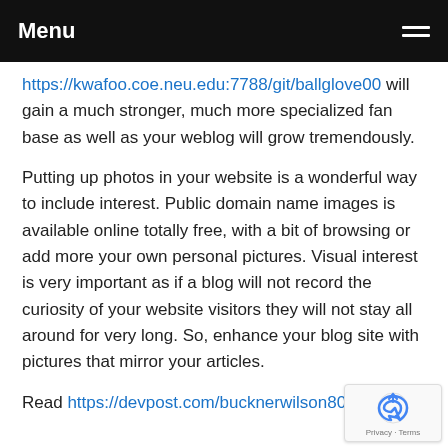Menu
https://kwafoo.coe.neu.edu:7788/git/ballglove00 will gain a much stronger, much more specialized fan base as well as your weblog will grow tremendously.
Putting up photos in your website is a wonderful way to include interest. Public domain name images is available online totally free, with a bit of browsing or add more your own personal pictures. Visual interest is very important as if a blog will not record the curiosity of your website visitors they will not stay all around for very long. So, enhance your blog site with pictures that mirror your articles.
Read https://devpost.com/bucknerwilson806 in